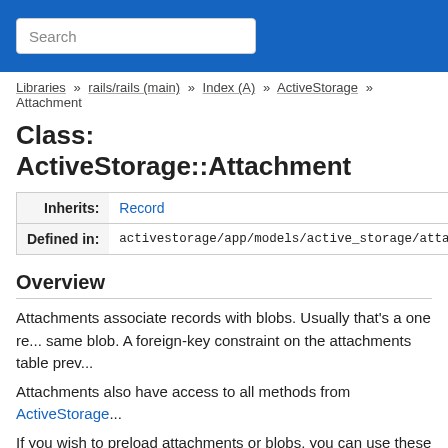Search
Libraries >> rails/rails (main) >> Index (A) >> ActiveStorage >> Attachment
Class: ActiveStorage::Attachment
|  |  |
| --- | --- |
| Inherits: | Record |
| Defined in: | activestorage/app/models/active_storage/attachment.rb |
Overview
Attachments associate records with blobs. Usually that's a one re... same blob. A foreign-key constraint on the attachments table prev...
Attachments also have access to all methods from ActiveStorage...
If you wish to preload attachments or blobs, you can use these sc...
# preloads attachments, their corresponding blo...
User.all.with_attached_avatars